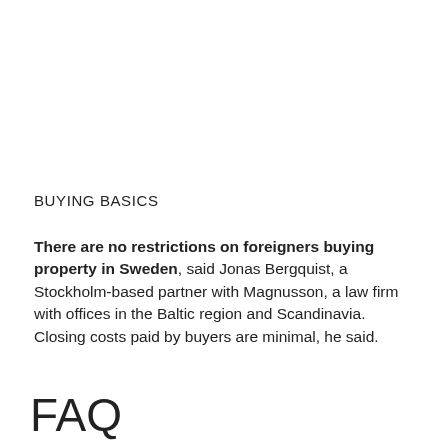BUYING BASICS
There are no restrictions on foreigners buying property in Sweden, said Jonas Bergquist, a Stockholm-based partner with Magnusson, a law firm with offices in the Baltic region and Scandinavia. Closing costs paid by buyers are minimal, he said.
FAQ